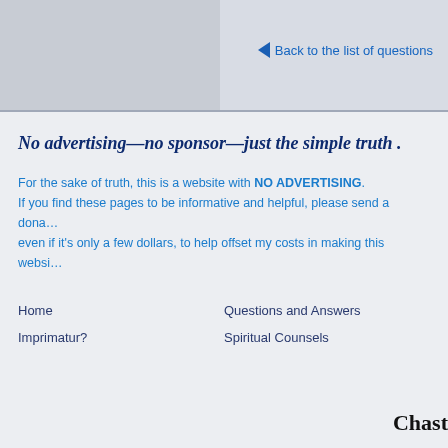Back to the list of questions
No advertising—no sponsor—just the simple truth .
For the sake of truth, this is a website with NO ADVERTISING. If you find these pages to be informative and helpful, please send a donation, even if it's only a few dollars, to help offset my costs in making this website.
Home
Questions and Answers
Imprimatur?
Spiritual Counsels
Chast